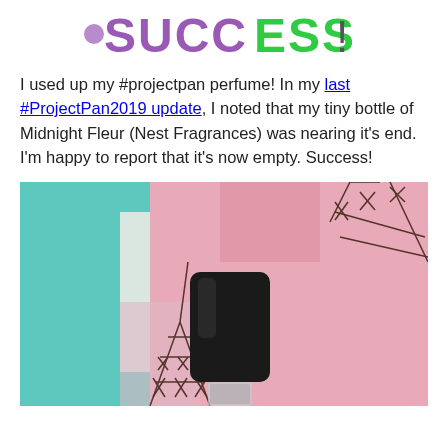[decorative logo/header graphic]
I used up my #projectpan perfume! In my last #ProjectPan2019 update, I noted that my tiny bottle of Midnight Fleur (Nest Fragrances) was nearing it's end. I'm happy to report that it's now empty. Success!
[Figure (photo): A small black perfume bottle cap resting on colorful fabric with a pink, teal, and white pattern with dark brown Eiffel Tower print design.]